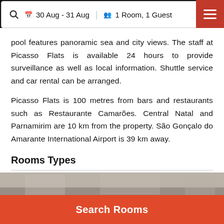30 Aug - 31 Aug  |  1 Room, 1 Guest
pool features panoramic sea and city views. The staff at Picasso Flats is available 24 hours to provide surveillance as well as local information. Shuttle service and car rental can be arranged.
Picasso Flats is 100 metres from bars and restaurants such as Restaurante Camarões. Central Natal and Parnamirim are 10 km from the property. São Gonçalo do Amarante International Airport is 39 km away.
Rooms Types
[Figure (photo): Partial interior photo of a hotel room (cropped, bottom of page)]
Search Rooms